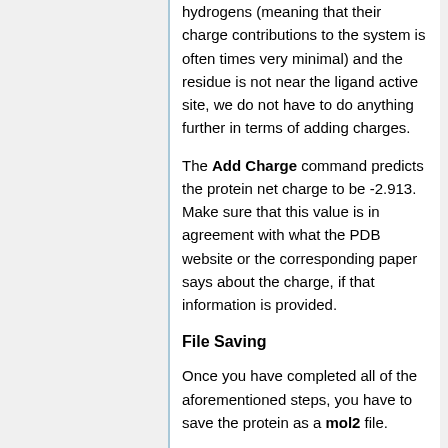hydrogens (meaning that their charge contributions to the system is often times very minimal) and the residue is not near the ligand active site, we do not have to do anything further in terms of adding charges.
The Add Charge command predicts the protein net charge to be -2.913. Make sure that this value is in agreement with what the PDB website or the corresponding paper says about the charge, if that information is provided.
File Saving
Once you have completed all of the aforementioned steps, you have to save the protein as a mol2 file.
File -> Save Mol2